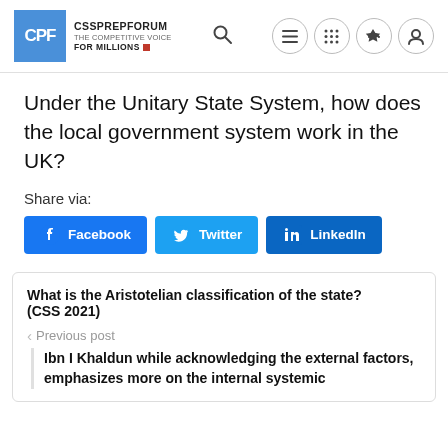CSSPREPFORUM THE COMPETITIVE VOICE FOR MILLIONS
Under the Unitary State System, how does the local government system work in the UK?
Share via:
[Figure (screenshot): Social share buttons: Facebook, Twitter, LinkedIn]
What is the Aristotelian classification of the state? (CSS 2021)
< Previous post
Ibn I Khaldun while acknowledging the external factors, emphasizes more on the internal systemic